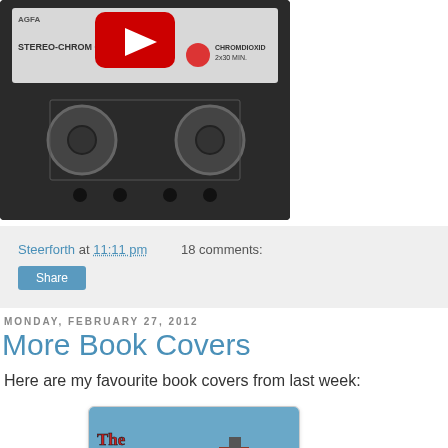[Figure (photo): AGFA Stereo-Chrom C60 HIFI cassette tape with YouTube play button overlay, dark gray housing]
Steerforth at 11:11 pm   18 comments:
Share
Monday, February 27, 2012
More Book Covers
Here are my favourite book covers from last week:
[Figure (photo): Book cover reading 'The Children's Friend' with illustrated winter scene showing a figure in a top hat near a chimney]